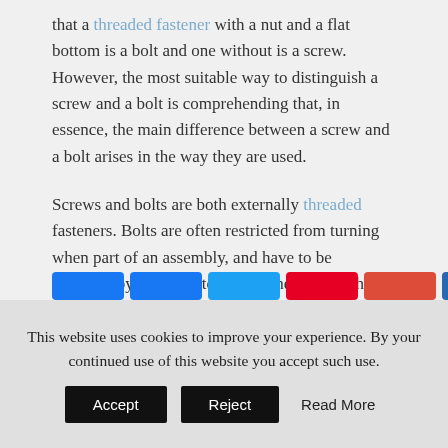that a threaded fastener with a nut and a flat bottom is a bolt and one without is a screw. However, the most suitable way to distinguish a screw and a bolt is comprehending that, in essence, the main difference between a screw and a bolt arises in the way they are used.
Screws and bolts are both externally threaded fasteners. Bolts are often restricted from turning when part of an assembly, and have to be loosened by applying torque on the nut. On the other hand, screws can be placed within pre tapped holes and can penetrate materials. They are often fastened onto the materials by applying a torque onto the screw head.
Continue reading →
This website uses cookies to improve your experience. By your continued use of this website you accept such use.